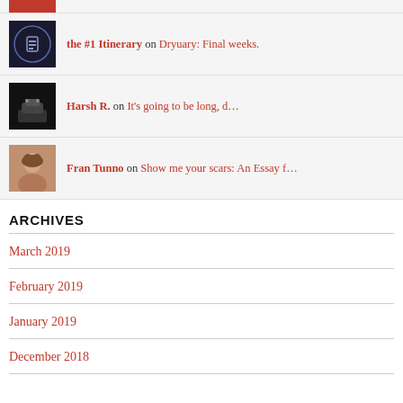the #1 Itinerary on Dryuary: Final weeks.
Harsh R. on It's going to be long, d…
Fran Tunno on Show me your scars: An Essay f…
ARCHIVES
March 2019
February 2019
January 2019
December 2018